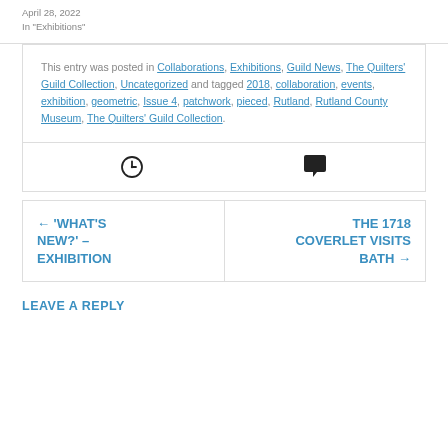April 28, 2022
In "Exhibitions"
This entry was posted in Collaborations, Exhibitions, Guild News, The Quilters' Guild Collection, Uncategorized and tagged 2018, collaboration, events, exhibition, geometric, Issue 4, patchwork, pieced, Rutland, Rutland County Museum, The Quilters' Guild Collection.
[Figure (other): Clock icon and speech bubble/comment icon]
← 'WHAT'S NEW?' – EXHIBITION
THE 1718 COVERLET VISITS BATH →
LEAVE A REPLY